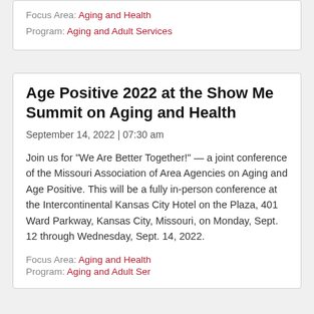Focus Area: Aging and Health
Program: Aging and Adult Services
Age Positive 2022 at the Show Me Summit on Aging and Health
September 14, 2022 | 07:30 am
Join us for "We Are Better Together!" — a joint conference of the Missouri Association of Area Agencies on Aging and Age Positive. This will be a fully in-person conference at the Intercontinental Kansas City Hotel on the Plaza, 401 Ward Parkway, Kansas City, Missouri, on Monday, Sept. 12 through Wednesday, Sept. 14, 2022.
Focus Area: Aging and Health
Program: Aging and Adult Services